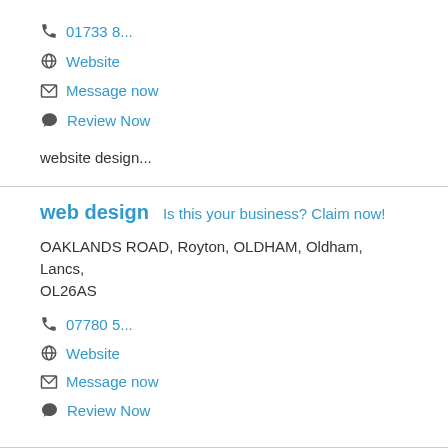📞 01733 8...
🌐 Website
✉ Message now
💬 Review Now
website design...
web design  Is this your business? Claim now!
OAKLANDS ROAD, Royton, OLDHAM, Oldham, Lancs, OL26AS
📞 07780 5...
🌐 Website
✉ Message now
💬 Review Now